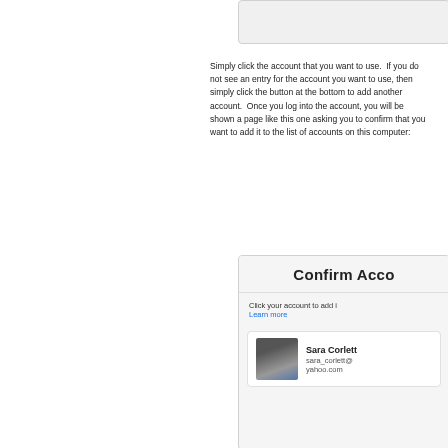[Figure (screenshot): Top portion of a UI dialog/panel, partially visible, light gray background]
Simply click the account that you want to use.  If you do not see an entry for the account you want to use, then simply click the button at the bottom to add another account.  Once you log into the account, you will be shown a page like this one asking you to confirm that you want to add it to the list of accounts on this computer:
[Figure (screenshot): Confirm Account dialog showing title 'Confirm Acco[unt]', text 'Click your account to add i[t]', a 'Learn more' link in blue, and an account row for Sara Corlett with email sara_corlett@yahoo.com and a profile photo]